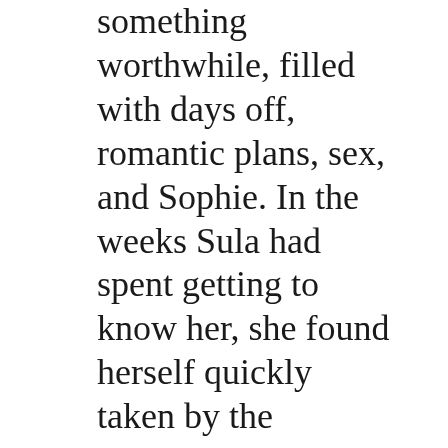something worthwhile, filled with days off, romantic plans, sex, and Sophie. In the weeks Sula had spent getting to know her, she found herself quickly taken by the